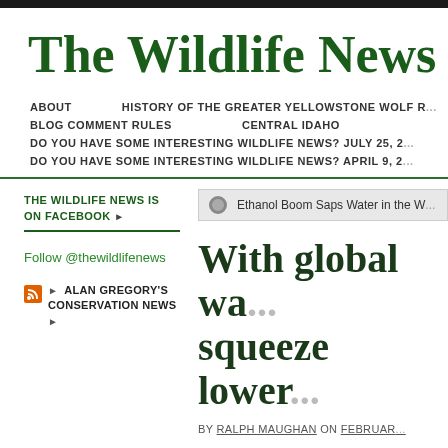The Wildlife News
ABOUT | HISTORY OF THE GREATER YELLOWSTONE WOLF R... | BLOG COMMENT RULES | CENTRAL IDAHO | DO YOU HAVE SOME INTERESTING WILDLIFE NEWS? JULY 25, 2... | DO YOU HAVE SOME INTERESTING WILDLIFE NEWS? APRIL 9, 2...
THE WILDLIFE NEWS IS ON FACEBOOK
Ethanol Boom Saps Water in the W...
Follow @thewildlifenews
With global wa... squeeze lower...
by RALPH MAUGHAN on FEBRUAR...
ALAN GREGORY'S CONSERVATION NEWS